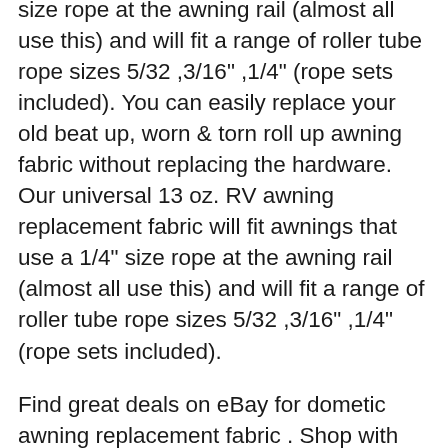size rope at the awning rail (almost all use this) and will fit a range of roller tube rope sizes 5/32 ,3/16" ,1/4" (rope sets included). You can easily replace your old beat up, worn & torn roll up awning fabric without replacing the hardware. Our universal 13 oz. RV awning replacement fabric will fit awnings that use a 1/4" size rope at the awning rail (almost all use this) and will fit a range of roller tube rope sizes 5/32 ,3/16" ,1/4" (rope sets included).
Find great deals on eBay for dometic awning replacement fabric . Shop with confidence. Model: Dometic A&E 8500 Awning BURGUNDY ROSE CODE DZ ALPINE GREEN/PERIWINKLE CODE DY